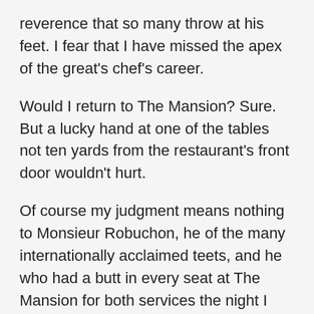reverence that so many throw at his feet. I fear that I have missed the apex of the great's chef's career.
Would I return to The Mansion? Sure. But a lucky hand at one of the tables not ten yards from the restaurant's front door wouldn't hurt.
Of course my judgment means nothing to Monsieur Robuchon, he of the many internationally acclaimed teets, and he who had a butt in every seat at The Mansion for both services the night I was in – most of whom had ordered the top Degustation.
It is unfortunate that the front of the house was a bit hapless. Of course, it could have just been an